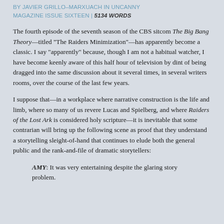BY JAVIER GRILLO-MARXUACH IN UNCANNY MAGAZINE ISSUE SIXTEEN | 5134 WORDS
The fourth episode of the seventh season of the CBS sitcom The Big Bang Theory—titled "The Raiders Minimization"—has apparently become a classic. I say "apparently" because, though I am not a habitual watcher, I have become keenly aware of this half hour of television by dint of being dragged into the same discussion about it several times, in several writers rooms, over the course of the last few years.
I suppose that—in a workplace where narrative construction is the life and limb, where so many of us revere Lucas and Spielberg, and where Raiders of the Lost Ark is considered holy scripture—it is inevitable that some contrarian will bring up the following scene as proof that they understand a storytelling sleight-of-hand that continues to elude both the general public and the rank-and-file of dramatic storytellers:
AMY: It was very entertaining despite the glaring story problem.